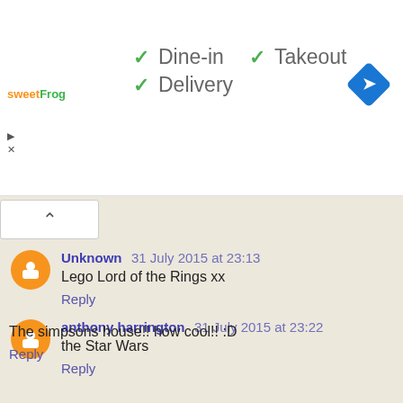[Figure (logo): sweetFrog logo in orange and green text]
✓ Dine-in  ✓ Takeout
✓ Delivery
[Figure (other): Blue diamond navigation/directions icon with right-arrow]
[Figure (other): Collapse chevron button (^)]
Unknown  31 July 2015 at 23:13
Lego Lord of the Rings xx
Reply
anthony harrington  31 July 2015 at 23:22
the Star Wars
Reply
Anonymous  31 July 2015 at 23:25
The simpsons house!! how cool!! :D
Reply